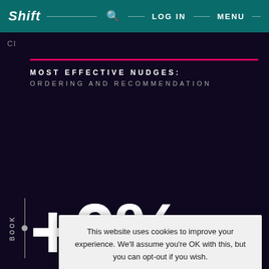Shift — SEARCH — LOG IN — MENU
CI
MOST EFFECTIVE NUDGES: ORDERING AND RECOMMENDATION
+0%
BOOK
This website uses cookies to improve your experience. We'll assume you're OK with this, but you can opt-out if you wish. Cookie settings ACCEPT